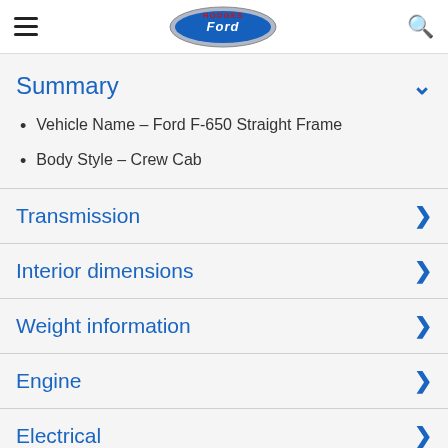Hodges Ford
Summary
Vehicle Name – Ford F-650 Straight Frame
Body Style – Crew Cab
Transmission
Interior dimensions
Weight information
Engine
Electrical
Frame